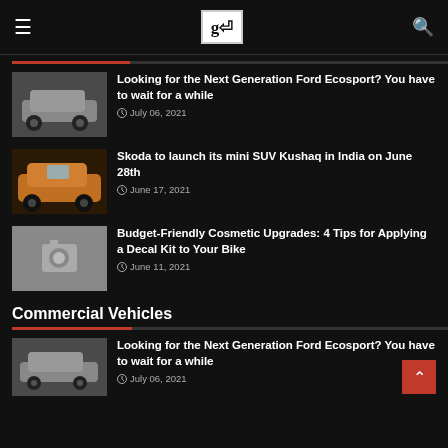≡ [logo] 🔍
Looking for the Next Generation Ford Ecosport? You have to wait for a while — July 06, 2021
Skoda to launch its mini SUV Kushaq in India on June 28th — June 17, 2021
Budget-Friendly Cosmetic Upgrades: 4 Tips for Applying a Decal Kit to Your Bike — June 11, 2021
Commercial Vehicles
Looking for the Next Generation Ford Ecosport? You have to wait for a while — July 06, 2021